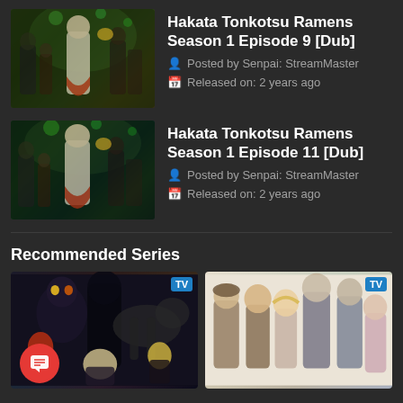[Figure (screenshot): Anime thumbnail for Hakata Tonkotsu Ramens Season 1 Episode 9 Dub]
Hakata Tonkotsu Ramens Season 1 Episode 9 [Dub]
Posted by Senpai: StreamMaster
Released on: 2 years ago
[Figure (screenshot): Anime thumbnail for Hakata Tonkotsu Ramens Season 1 Episode 11 Dub]
Hakata Tonkotsu Ramens Season 1 Episode 11 [Dub]
Posted by Senpai: StreamMaster
Released on: 2 years ago
Recommended Series
[Figure (illustration): Dark anime recommended series card with TV badge]
[Figure (illustration): Light anime recommended series card with TV badge]